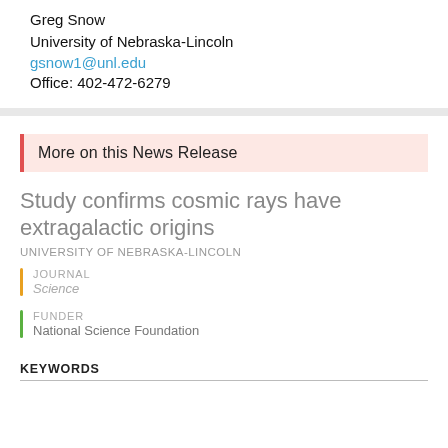Greg Snow
University of Nebraska-Lincoln
gsnow1@unl.edu
Office: 402-472-6279
More on this News Release
Study confirms cosmic rays have extragalactic origins
UNIVERSITY OF NEBRASKA-LINCOLN
JOURNAL
Science
FUNDER
National Science Foundation
KEYWORDS